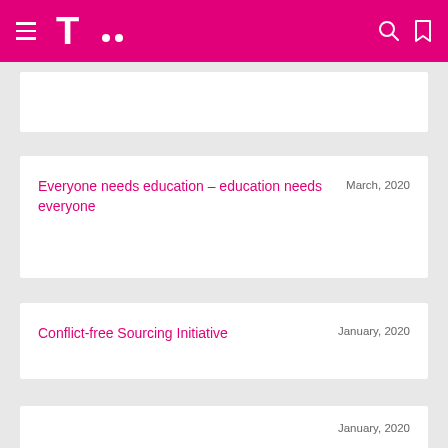T-Mobile navigation header with logo, search and bookmark icons
Everyone needs education – education needs everyone
March, 2020
Conflict-free Sourcing Initiative
January, 2020
January, 2020